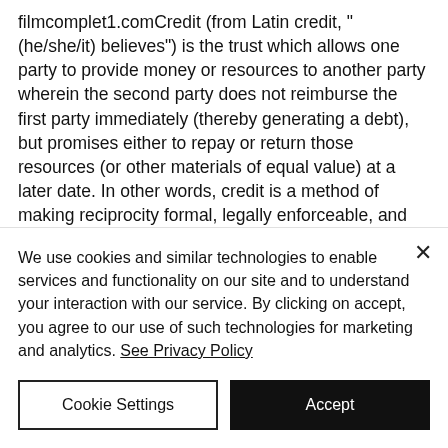filmcomplet1.comCredit (from Latin credit, “(he/she/it) believes”) is the trust which allows one party to provide money or resources to another party wherein the second party does not reimburse the first party immediately (thereby generating a debt), but promises either to repay or return those resources (or other materials of equal value) at a later date. In other words, credit is a method of making reciprocity formal, legally enforceable, and extensible to a large group of unrelated people.The resources
We use cookies and similar technologies to enable services and functionality on our site and to understand your interaction with our service. By clicking on accept, you agree to our use of such technologies for marketing and analytics. See Privacy Policy